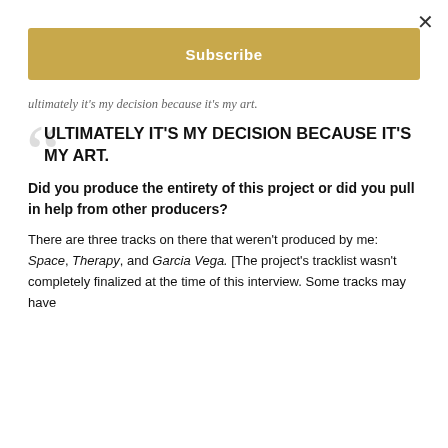×
[Figure (other): Gold/yellow Subscribe button bar]
ultimately it's my decision because it's my art.
ULTIMATELY IT'S MY DECISION BECAUSE IT'S MY ART.
Did you produce the entirety of this project or did you pull in help from other producers?
There are three tracks on there that weren't produced by me: Space, Therapy, and Garcia Vega. [The project's tracklist wasn't completely finalized at the time of this interview. Some tracks may have